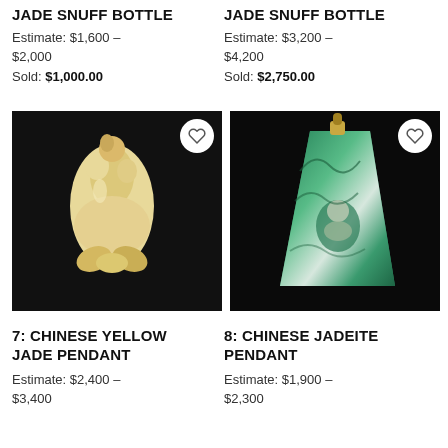JADE SNUFF BOTTLE
Estimate: $1,600 - $2,000
Sold: $1,000.00
JADE SNUFF BOTTLE
Estimate: $3,200 - $4,200
Sold: $2,750.00
[Figure (photo): Chinese yellow jade pendant carved figure on black background]
[Figure (photo): Chinese jadeite pendant with Buddha carving in green jade on black background]
7: CHINESE YELLOW JADE PENDANT
Estimate: $2,400 - $3,400
8: CHINESE JADEITE PENDANT
Estimate: $1,900 - $2,300